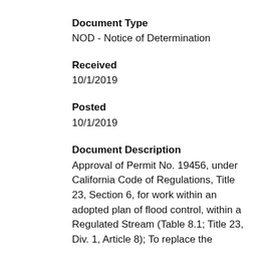Document Type
NOD - Notice of Determination
Received
10/1/2019
Posted
10/1/2019
Document Description
Approval of Permit No. 19456, under California Code of Regulations, Title 23, Section 6, for work within an adopted plan of flood control, within a Regulated Stream (Table 8.1; Title 23, Div. 1, Article 8); To replace the